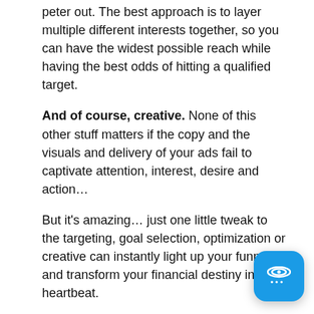peter out. The best approach is to layer multiple different interests together, so you can have the widest possible reach while having the best odds of hitting a qualified target.
And of course, creative. None of this other stuff matters if the copy and the visuals and delivery of your ads fail to captivate attention, interest, desire and action…
But it's amazing… just one little tweak to the targeting, goal selection, optimization or creative can instantly light up your funnel and transform your financial destiny in a heartbeat.
So book a free session, and we're going to see where the lowest hanging fruit actually is… and if it's traffic that will be the focus of our discussion…